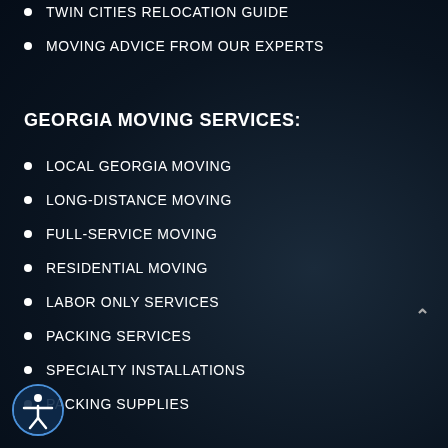TWIN CITIES RELOCATION GUIDE
MOVING ADVICE FROM OUR EXPERTS
GEORGIA MOVING SERVICES:
LOCAL GEORGIA MOVING
LONG-DISTANCE MOVING
FULL-SERVICE MOVING
RESIDENTIAL MOVING
LABOR ONLY SERVICES
PACKING SERVICES
SPECIALTY INSTALLATIONS
PACKING SUPPLIES
COMMERCIAL MOVING
EMERGENCY MOVING SERVICES
STORAGE & WAREHOUSE